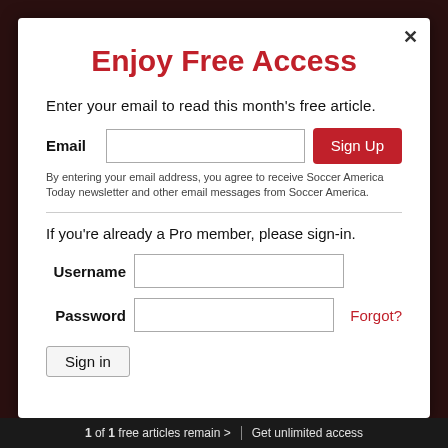Enjoy Free Access
Enter your email to read this month's free article.
Email  [input field]  Sign Up
By entering your email address, you agree to receive Soccer America Today newsletter and other email messages from Soccer America.
If you're already a Pro member, please sign-in.
Username [input field]
Password [input field]  Forgot?
Sign in
1 of 1 free articles remain >  Get unlimited access